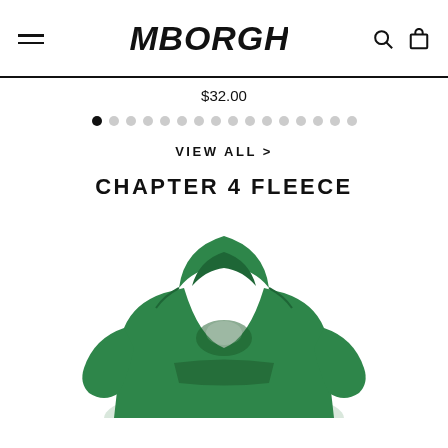SAMBORGHINI — navigation header with hamburger menu, logo, search and cart icons
$32.00
[Figure (other): Carousel dot indicators, 16 dots, first dot filled/active]
VIEW ALL >
CHAPTER 4 FLEECE
[Figure (photo): Green pullover hoodie with graphic print, shown from front, hood up, against white background]